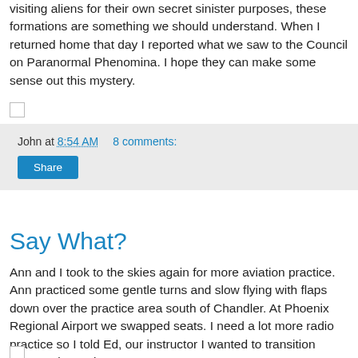visiting aliens for their own secret sinister purposes, these formations are something we should understand. When I returned home that day I reported what we saw to the Council on Paranormal Phenomina. I hope they can make some sense out this mystery.
John at 8:54 AM    8 comments:
Share
Say What?
Ann and I took to the skies again for more aviation practice. Ann practiced some gentle turns and slow flying with flaps down over the practice area south of Chandler. At Phoenix Regional Airport we swapped seats. I need a lot more radio practice so I told Ed, our instructor I wanted to transition across Sky Harbor.